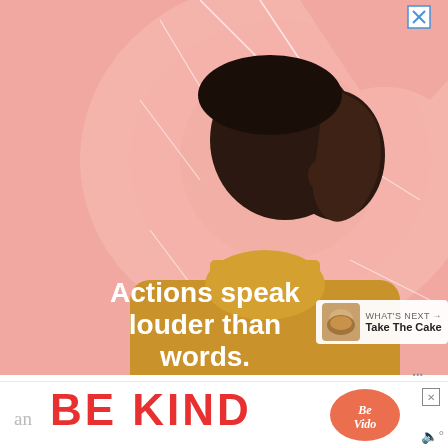[Figure (illustration): Advertisement illustration: a stylized Black man in profile view wearing a yellow turtleneck, on a pink background with abstract white line designs. White bold text overlay reads 'Actions speak louder than words.' Close/X button in top-right corner.]
Stick blend away like Polly! I think she uses more spinach and has a better blender than we do because mine weren't quite as neon gre[en]. Toppings included coconut butter, salty peanuts an[d...]
[Figure (illustration): What's next widget: small thumbnail image of a baked cake, with label 'WHAT'S NEXT →' and text 'Take The Cake']
[Figure (illustration): Bottom advertisement banner: large red bold text 'BE KIND' with a decorative script/calligraphy logo element to the right, partial body text 'an' on the left, close X button top-right, speaker icon bottom-right.]